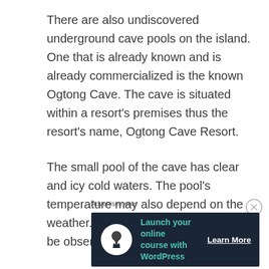There are also undiscovered underground cave pools on the island. One that is already known and is already commercialized is the known Ogtong Cave. The cave is situated within a resort's premises thus the resort's name, Ogtong Cave Resort.
The small pool of the cave has clear and icy cold waters. The pool's temperature may also depend on the weather. There are also few rules to be observed while inside the cave.
Advertisements
[Figure (other): Advertisement banner with dark navy background showing a tree/person icon in a white circle, teal text 'Launch your online course with WordPress', and a 'Learn More' call-to-action button in white text.]